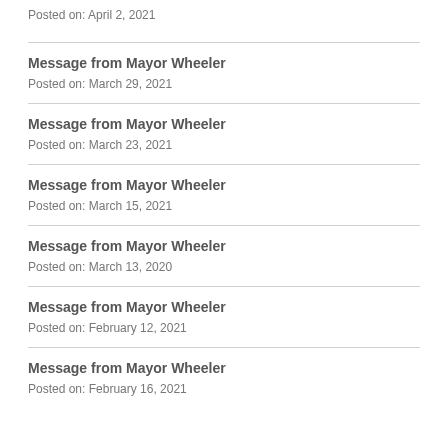Posted on: April 2, 2021
Message from Mayor Wheeler
Posted on: March 29, 2021
Message from Mayor Wheeler
Posted on: March 23, 2021
Message from Mayor Wheeler
Posted on: March 15, 2021
Message from Mayor Wheeler
Posted on: March 13, 2020
Message from Mayor Wheeler
Posted on: February 12, 2021
Message from Mayor Wheeler
Posted on: February 16, 2021